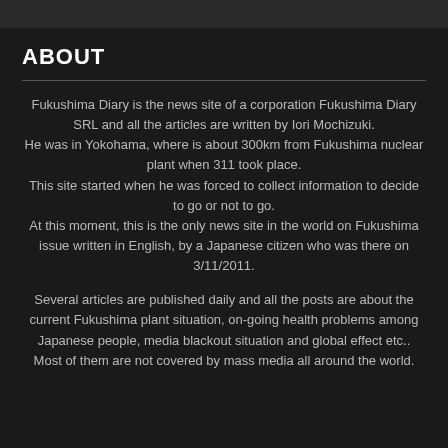ABOUT
Fukushima Diary is the news site of a corporation Fukushima Diary SRL and all the articles are written by Iori Mochizuki. He was in Yokohama, where is about 300km from Fukushima nuclear plant when 311 took place. This site started when he was forced to collect information to decide to go or not to go. At this moment, this is the only news site in the world on Fukushima issue written in English, by a Japanese citizen who was there on 3/11/2011.
Several articles are published daily and all the posts are about the current Fukushima plant situation, on-going health problems among Japanese people, media blackout situation and global effect etc.. Most of them are not covered by mass media all around the world.